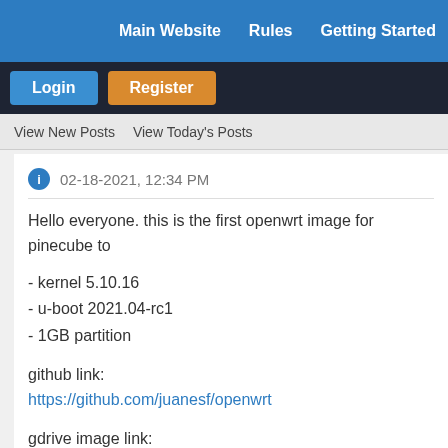Main Website   Rules   Getting Started
Login   Register
View New Posts   View Today's Posts
02-18-2021, 12:34 PM
Hello everyone. this is the first openwrt image for pinecube to
- kernel 5.10.16
- u-boot 2021.04-rc1
- 1GB partition
github link:
https://github.com/juanesf/openwrt
gdrive image link:
https://drive.google.com/file/d/1ttO29qZ...sp=sharing
ps: do not activate wireguard in menuconfig, it has a conflict s